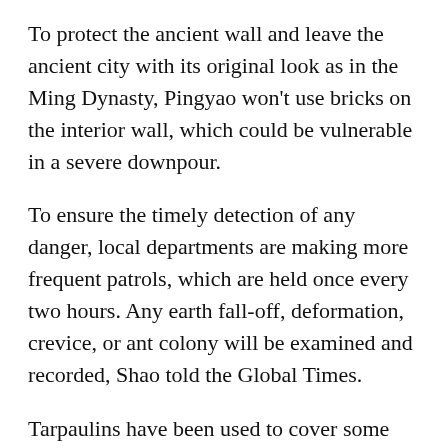To protect the ancient wall and leave the ancient city with its original look as in the Ming Dynasty, Pingyao won't use bricks on the interior wall, which could be vulnerable in a severe downpour.
To ensure the timely detection of any danger, local departments are making more frequent patrols, which are held once every two hours. Any earth fall-off, deformation, crevice, or ant colony will be examined and recorded, Shao told the Global Times.
Tarpaulins have been used to cover some fractions of the ancient wall that are susceptible to danger in every rainy season around May. About 200 such tarpaulins were used before this downpour reached Pingyao, and as rainfalls continued, another 200 were used, he